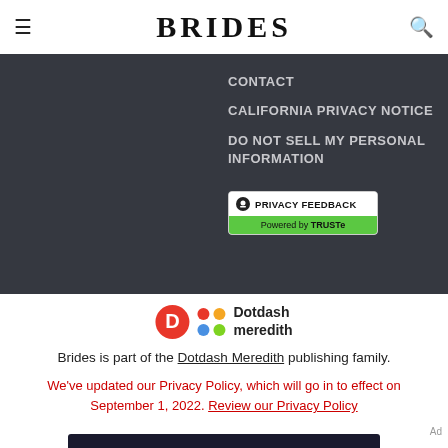BRIDES
CONTACT
CALIFORNIA PRIVACY NOTICE
DO NOT SELL MY PERSONAL INFORMATION
[Figure (logo): Privacy Feedback badge powered by TRUSTe]
[Figure (logo): Dotdash Meredith logo with D icon and colorful grid icon]
Brides is part of the Dotdash Meredith publishing family.
We've updated our Privacy Policy, which will go in to effect on September 1, 2022. Review our Privacy Policy
Ad
[Figure (illustration): Dotdash Meredith advertisement banner: We help people find answers, solve problems and get inspired.]